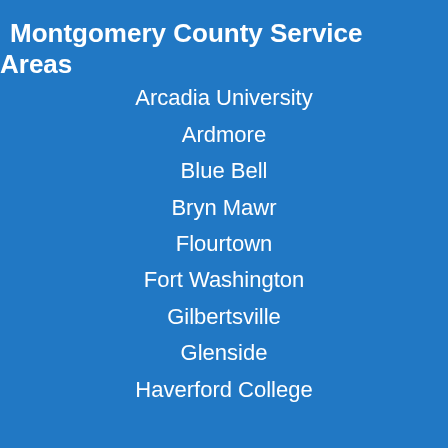Montgomery County Service Areas
Arcadia University
Ardmore
Blue Bell
Bryn Mawr
Flourtown
Fort Washington
Gilbertsville
Glenside
Haverford College